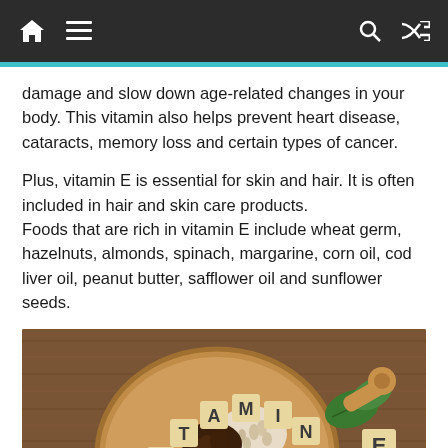[Navigation bar with home, menu, search, and shuffle icons]
damage and slow down age-related changes in your body. This vitamin also helps prevent heart disease, cataracts, memory loss and certain types of cancer.
Plus, vitamin E is essential for skin and hair. It is often included in hair and skin care products. Foods that are rich in vitamin E include wheat germ, hazelnuts, almonds, spinach, margarine, corn oil, cod liver oil, peanut butter, safflower oil and sunflower seeds.
[Figure (photo): Photo of wooden scrabble-like letter tiles spelling VITAMIN E arranged in a circle on a wooden board, surrounded by various vitamin E-rich foods including nuts, seeds, spinach leaves, and other ingredients.]